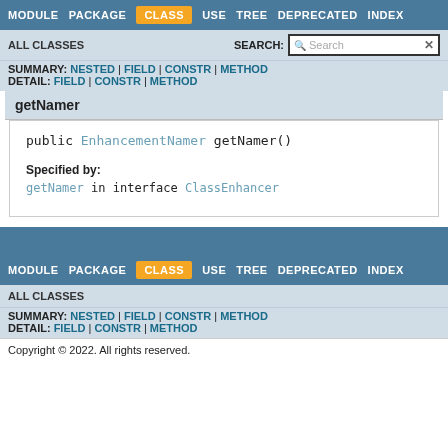MODULE  PACKAGE  CLASS  USE  TREE  DEPRECATED  INDEX
ALL CLASSES   SEARCH:
SUMMARY: NESTED | FIELD | CONSTR | METHOD
DETAIL: FIELD | CONSTR | METHOD
getNamer
public EnhancementNamer getNamer()
Specified by:
getNamer in interface ClassEnhancer
MODULE  PACKAGE  CLASS  USE  TREE  DEPRECATED  INDEX
ALL CLASSES
SUMMARY: NESTED | FIELD | CONSTR | METHOD
DETAIL: FIELD | CONSTR | METHOD
Copyright © 2022. All rights reserved.